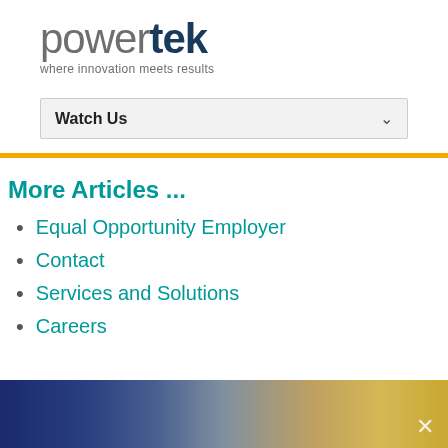[Figure (logo): Powertek logo with tagline 'where innovation meets results'. 'power' in grey light font, 'tek' in dark navy bold font.]
Watch Us
More Articles ...
Equal Opportunity Employer
Contact
Services and Solutions
Careers
[Figure (photo): Blurred colorful banner image at the bottom of the page with a close (x) button in the lower right corner.]